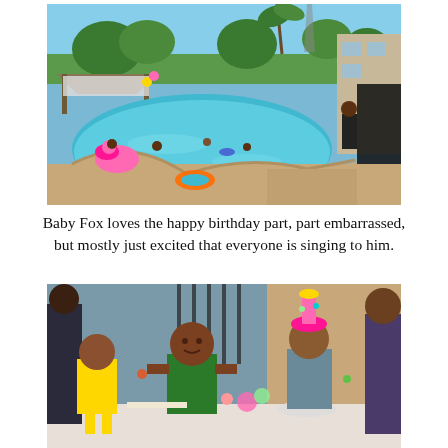[Figure (photo): Outdoor backyard pool party scene with children swimming, pink flamingo floats, an orange ring float, a gazebo with decorations in the background, palm trees, and a dark fence on the right side.]
Baby Fox loves the happy birthday part, part embarrassed, but mostly just excited that everyone is singing to him.
[Figure (photo): Children gathered around a table at a birthday party outdoors. A boy in a green shirt sits at center, a girl in yellow is to his left, and a girl wearing a colorful hat is to his right. Adults stand in the background.]